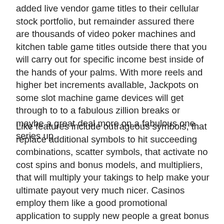added live vendor game titles to their cellular stock portfolio, but remainder assured there are thousands of video poker machines and kitchen table game titles outside there that you will carry out for specific income best inside of the hands of your palms. With more reels and higher bet increments avallable, Jackpots on some slot machine game devices will get through to to a fabulous zillion breaks or maybe a great deal more on a fabulous one series up.
Like features include outrageous symbols, that replace additional symbols to hit succeeding combinations, scatter symbols, that activate no cost spins and bonus models, and multipliers, that will multiply your takings to help make your ultimate payout very much nicer. Casinos employ them like a good promotional application to supply new people a great bonus to create a great bank account and begin performing. About , we have a new range of the most recent enjoyment online video games that you may enjoy to the optimum degree. Â As concept continues developing, the game titles have far better and whole lot more attributes happen to be turning into contained without thinking ever closely on your